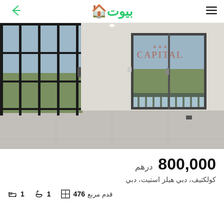بيوت
[Figure (photo): Interior of an empty apartment room with black-framed glass partition doors on the left and sliding glass balcony doors in the center with a city view. CAPITAL watermark visible in the upper right.]
800,000 درهم
كولكتيف، دبي هيلز استيت، دبي
1 (bed) | 1 (bath) | 476 قدم مربع